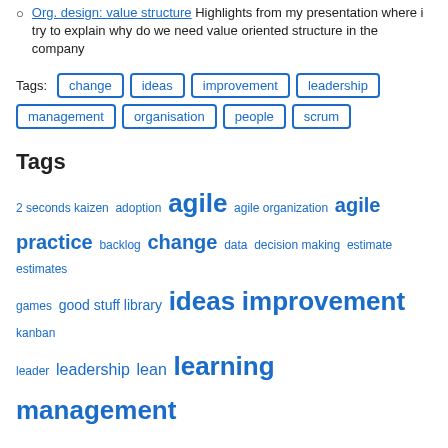Org. design: value structure Highlights from my presentation where i try to explain why do we need value oriented structure in the company
Tags: change ideas improvement leadership management organisation people scrum
Tags
2 seconds kaizen adoption agile agile organization agile practice backlog change data decision making estimate estimates games good stuff library ideas improvement kanban leader leadership lean learning management